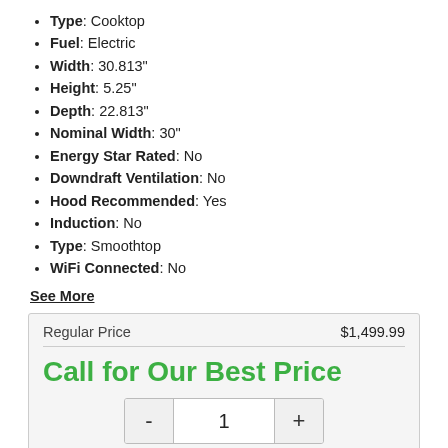Type: Cooktop
Fuel: Electric
Width: 30.813"
Height: 5.25"
Depth: 22.813"
Nominal Width: 30"
Energy Star Rated: No
Downdraft Ventilation: No
Hood Recommended: Yes
Induction: No
Type: Smoothtop
WiFi Connected: No
See More
| Regular Price | $1,499.99 |
| --- | --- |
Call for Our Best Price
Get Quote